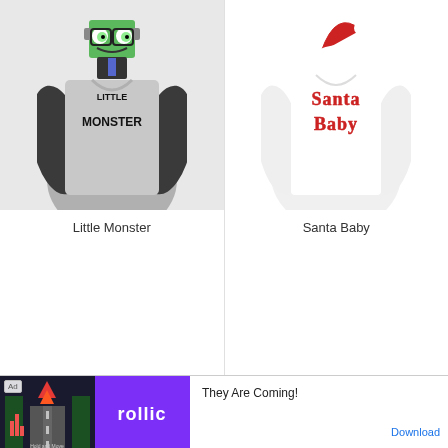[Figure (photo): Gray raglan shirt with 'Little Monster' graphic featuring a cartoon monster character]
Little Monster
[Figure (photo): White long-sleeve shirt with 'Santa Baby' text graphic with red Santa hat]
Santa Baby
[Figure (other): Ad banner for Rollic game 'They Are Coming!' with road/traffic graphic and Download button]